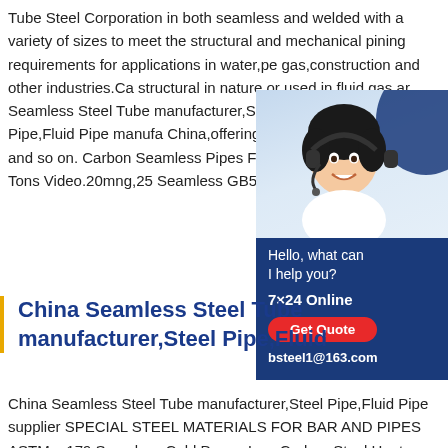Tube Steel Corporation in both seamless and welded with a variety of sizes to meet the structural and mechanical pining requirements for applications in water,pe gas,construction and other industries.Ca structural in nature or used in fluid,gas,ar Seamless Steel Tube manufacturer,Stee Steel Tube,Steel Pipe,Fluid Pipe manufa China,offering API 5l Steel Pipe,API Petr and so on. Carbon Seamless Pipes FOB Ton.Min.Order 560 Tons Video.20mng,25 Seamless GB5310 ASTM SA210
[Figure (photo): Customer service advertisement widget showing a woman with headset on a blue background. Text: Hello, what can I help you? 7×24 Online, Get Quote button, bsteel1@163.com]
China Seamless Steel Tube manufacturer,Steel Pipe,Fluid
China Seamless Steel Tube manufacturer,Steel Pipe,Fluid Pipe supplier SPECIAL STEEL MATERIALS FOR BAR AND PIPES ASTM a 179 Seamless Cold Drawn Low Carbon Steel Heat